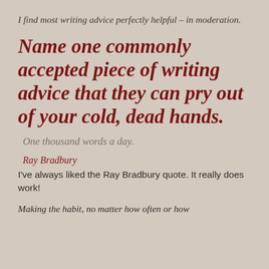I find most writing advice perfectly helpful – in moderation.
Name one commonly accepted piece of writing advice that they can pry out of your cold, dead hands.
One thousand words a day.
Ray Bradbury
I've always liked the Ray Bradbury quote. It really does work!
Making the habit, no matter how often or how